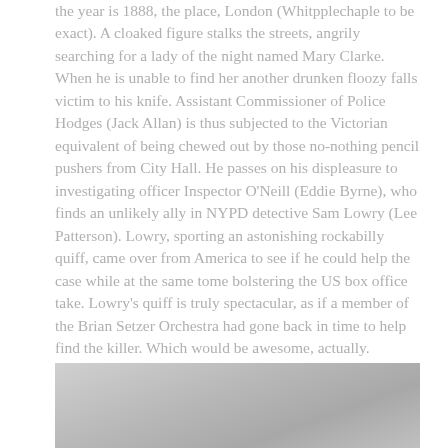the year is 1888, the place, London (Whitpplechaple to be exact). A cloaked figure stalks the streets, angrily searching for a lady of the night named Mary Clarke. When he is unable to find her another drunken floozy falls victim to his knife. Assistant Commissioner of Police Hodges (Jack Allan) is thus subjected to the Victorian equivalent of being chewed out by those no-nothing pencil pushers from City Hall. He passes on his displeasure to investigating officer Inspector O'Neill (Eddie Byrne), who finds an unlikely ally in NYPD detective Sam Lowry (Lee Patterson). Lowry, sporting an astonishing rockabilly quiff, came over from America to see if he could help the case while at the same tome bolstering the US box office take. Lowry's quiff is truly spectacular, as if a member of the Brian Setzer Orchestra had gone back in time to help find the killer. Which would be awesome, actually.
[Figure (photo): A grayscale photograph, partially visible at the bottom of the page, showing an outdoor scene with muted gray tones.]